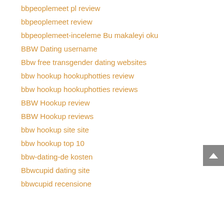bbpeoplemeet pl review
bbpeoplemeet review
bbpeoplemeet-inceleme Bu makaleyi oku
BBW Dating username
Bbw free transgender dating websites
bbw hookup hookuphotties review
bbw hookup hookuphotties reviews
BBW Hookup review
BBW Hookup reviews
bbw hookup site site
bbw hookup top 10
bbw-dating-de kosten
Bbwcupid dating site
bbwcupid recensione